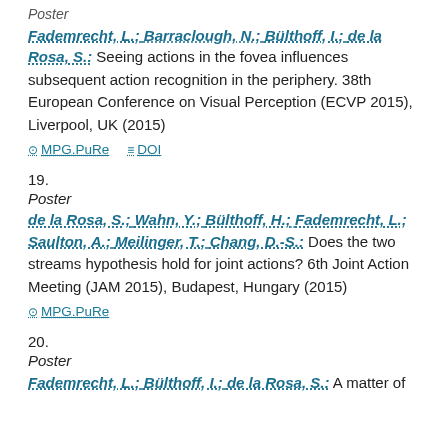Poster
Fademrecht, L.; Barraclough, N.; Bülthoff, I.; de la Rosa, S.: Seeing actions in the fovea influences subsequent action recognition in the periphery. 38th European Conference on Visual Perception (ECVP 2015), Liverpool, UK (2015)
MPG.PuRe   DOI
19.
Poster
de la Rosa, S.; Wahn, Y.; Bülthoff, H.; Fademrecht, L.; Saulton, A.; Meilinger, T.; Chang, D.-S.: Does the two streams hypothesis hold for joint actions? 6th Joint Action Meeting (JAM 2015), Budapest, Hungary (2015)
MPG.PuRe
20.
Poster
Fademrecht, L.; Bülthoff, I.; de la Rosa, S.: A matter of